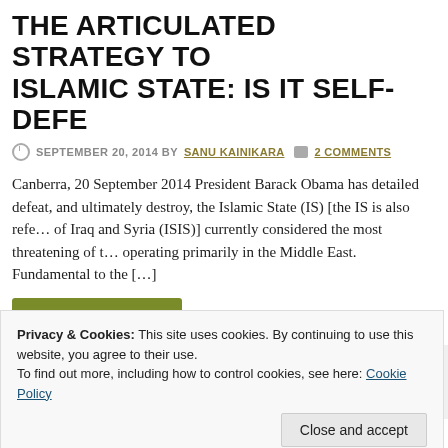THE ARTICULATED STRATEGY TO ISLAMIC STATE: IS IT SELF-DEFE…
SEPTEMBER 20, 2014 BY SANU KAINIKARA   2 COMMENTS
Canberra, 20 September 2014 President Barack Obama has detailed defeat, and ultimately destroy, the Islamic State (IS) [the IS is also referred to as the Islamic State of Iraq and Syria (ISIS)] currently considered the most threatening of the terrorist groups operating primarily in the Middle East. Fundamental to the […]
Continue reading →
Middle East, Political Analysis, Security Issues, USA and Europe
Iraq, ISIS, Islamic State, Pershmerga, President Obama, Saudi Arabia…
Privacy & Cookies: This site uses cookies. By continuing to use this website, you agree to their use.
To find out more, including how to control cookies, see here: Cookie Policy
Close and accept
Canberra, 19 December 2013 The so-called US pivot to Asia has bro…